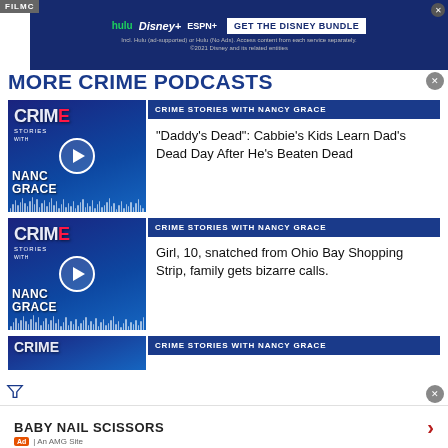[Figure (screenshot): Disney Bundle ad banner with Hulu, Disney+, ESPN+ logos and GET THE DISNEY BUNDLE call to action]
MORE CRIME PODCASTS
[Figure (screenshot): Crime Stories with Nancy Grace podcast thumbnail with play button and waveform]
CRIME STORIES WITH NANCY GRACE
“Daddy’s Dead”: Cabbie’s Kids Learn Dad’s Dead Day After He’s Beaten Dead
[Figure (screenshot): Crime Stories with Nancy Grace podcast thumbnail with play button and waveform]
CRIME STORIES WITH NANCY GRACE
Girl, 10, snatched from Ohio Bay Shopping Strip, family gets bizarre calls.
[Figure (screenshot): Crime Stories with Nancy Grace podcast thumbnail partial view]
CRIME STORIES WITH NANCY GRACE
BABY NAIL SCISSORS